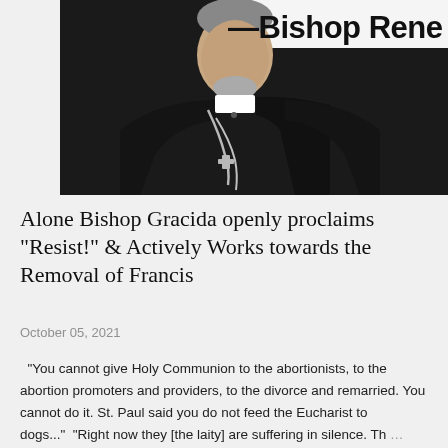[Figure (photo): Photo of Bishop Rene H. Gracida wearing black clerical attire with a silver chain/cross, with text overlay '—Bishop Rene H. Gr' visible at the top right.]
Alone Bishop Gracida openly proclaims "Resist!" & Actively Works towards the Removal of Francis
October 05, 2021
"You cannot give Holy Communion to the abortionists, to the abortion promoters and providers, to the divorce and remarried. You cannot do it. St. Paul said you do not feed the Eucharist to dogs..."  "Right now they [the laity] are suffering in silence. Th …